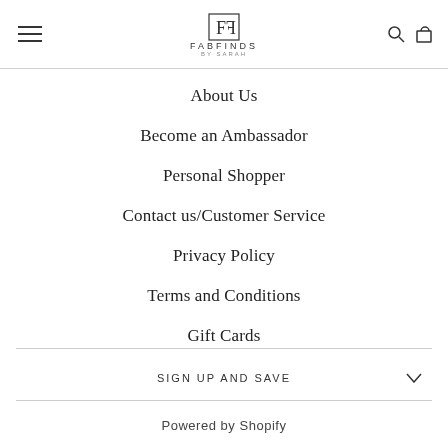FABFINDS BY SARAH
About Us
Become an Ambassador
Personal Shopper
Contact us/Customer Service
Privacy Policy
Terms and Conditions
Gift Cards
SIGN UP AND SAVE
Powered by Shopify